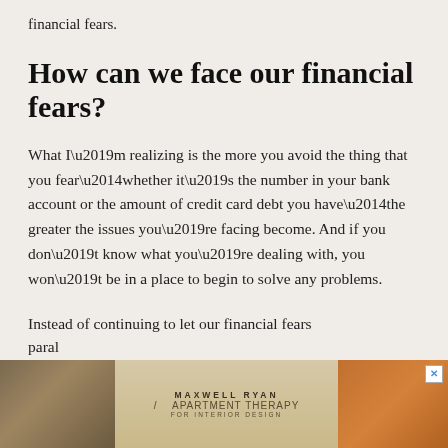financial fears.
How can we face our financial fears?
What I’m realizing is the more you avoid the thing that you fear—whether it’s the number in your bank account or the amount of credit card debt you have—the greater the issues you’re facing become. And if you don’t know what you’re dealing with, you won’t be in a place to begin to solve any problems.
Instead of continuing to let our financial fears paralyze us, we can choose to be more productive
[Figure (advertisement): Maxwell Ryan / Apartment Therapy advertisement banner with furniture imagery and close button]